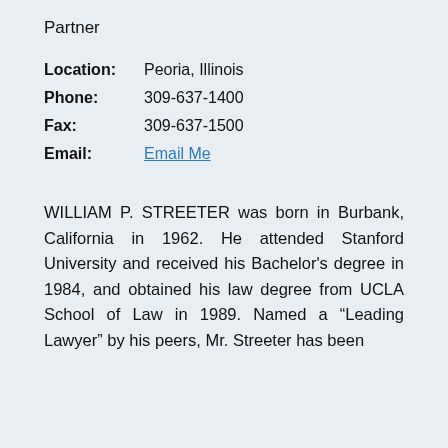Partner
Location: Peoria, Illinois
Phone: 309-637-1400
Fax: 309-637-1500
Email: Email Me
WILLIAM P. STREETER was born in Burbank, California in 1962. He attended Stanford University and received his Bachelor's degree in 1984, and obtained his law degree from UCLA School of Law in 1989. Named a “Leading Lawyer” by his peers, Mr. Streeter has been providing the best in attorney distr...